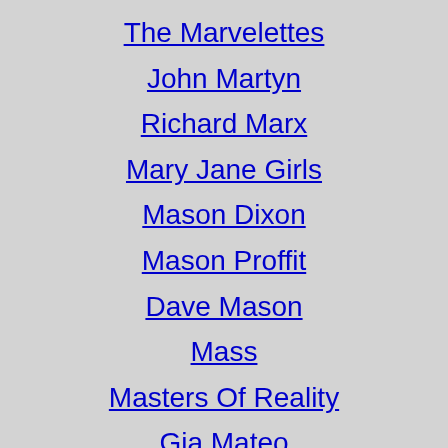The Marvelettes
John Martyn
Richard Marx
Mary Jane Girls
Mason Dixon
Mason Proffit
Dave Mason
Mass
Masters Of Reality
Gia Mateo
Mireille Mathi…